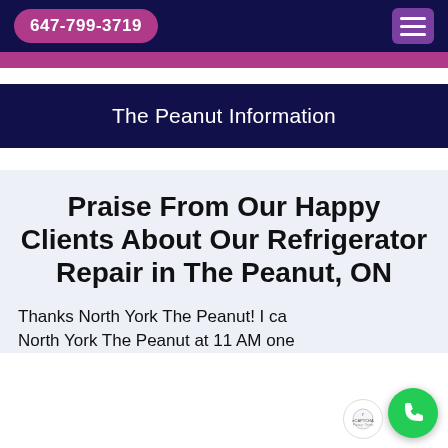647-799-3719
The Peanut Information
Praise From Our Happy Clients About Our Refrigerator Repair in The Peanut, ON
Thanks North York The Peanut! I ca North York The Peanut at 11 AM one